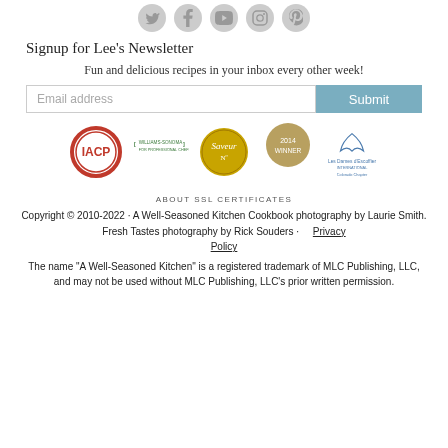[Figure (illustration): Row of five circular social media icon buttons in light gray: Twitter, Facebook, YouTube, Instagram, Pinterest]
Signup for Lee's Newsletter
Fun and delicious recipes in your inbox every other week!
[Figure (other): Email address input field with Submit button]
[Figure (logo): Row of five award/affiliation badges: IACP (red circle), Williams-Sonoma For Professional Chefs (green brackets), Saveur Nº (gold circle), 2016 Winner medal, Les Dames d'Escoffier International Colorado Chapter (blue feather logo)]
ABOUT SSL CERTIFICATES
Copyright © 2010-2022 · A Well-Seasoned Kitchen Cookbook photography by Laurie Smith. Fresh Tastes photography by Rick Souders · Privacy Policy
The name "A Well-Seasoned Kitchen" is a registered trademark of MLC Publishing, LLC, and may not be used without MLC Publishing, LLC's prior written permission.